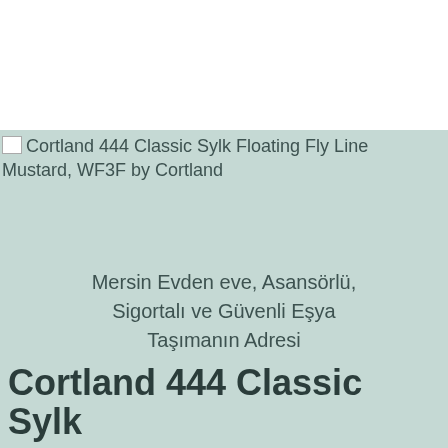[Figure (other): Broken image icon placeholder for Cortland 444 Classic Sylk Floating Fly Line Mustard, WF3F by Cortland product image]
Cortland 444 Classic Sylk Floating Fly Line Mustard, WF3F by Cortland
Mersin Evden eve, Asansörlü, Sigortalı ve Güvenli Eşya Taşımanın Adresi
Cortland 444 Classic Sylk